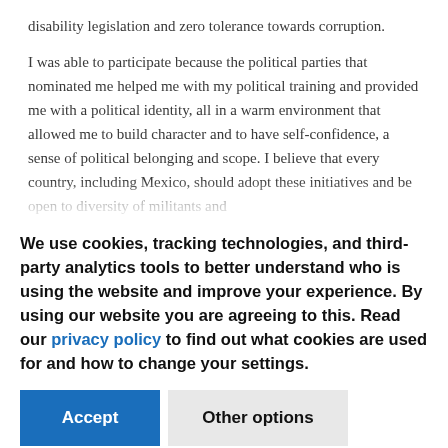disability legislation and zero tolerance towards corruption.
I was able to participate because the political parties that nominated me helped me with my political training and provided me with a political identity, all in a warm environment that allowed me to build character and to have self-confidence, a sense of political belonging and scope. I believe that every country, including Mexico, should adopt these initiatives and be open to diversity of militants and
We use cookies, tracking technologies, and third-party analytics tools to better understand who is using the website and improve your experience. By using our website you are agreeing to this. Read our privacy policy to find out what cookies are used for and how to change your settings.
Accept
Other options